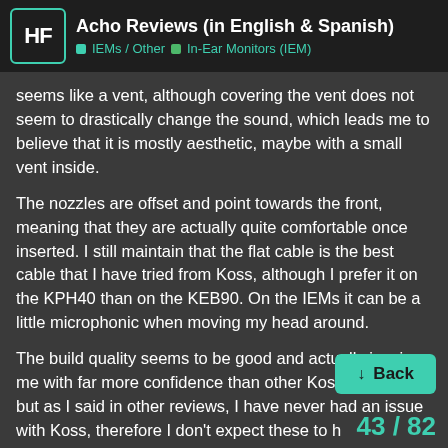Acho Reviews (in English & Spanish) | IEMs / Other | In-Ear Monitors (IEM)
seems like a vent, although covering the vent does not seem to drastically change the sound, which leads me to believe that it is mostly aesthetic, maybe with a small vent inside.
The nozzles are offset and point towards the front, meaning that they are actually quite comfortable once inserted. I still maintain that the flat cable is the best cable that I have tried from Koss, although I prefer it on the KPH40 than on the KEB90. On the IEMs it can be a little microphonic when moving my head around.
The build quality seems to be good and actually inspires me with far more confidence than other Koss models do, but as I said in other reviews, I have never had an issue with Koss, therefore I don't expect these to h[ave any] issues as far as build.
The aesthetics, while not being anythin[g special,] have a bit of a "Utility" vibe to them, wh[ich...]